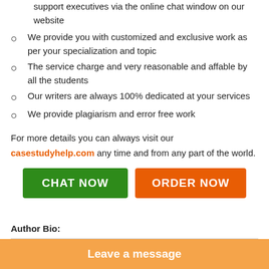support executives via the online chat window on our website
We provide you with customized and exclusive work as per your specialization and topic
The service charge and very reasonable and affable by all the students
Our writers are always 100% dedicated at your services
We provide plagiarism and error free work
For more details you can always visit our casestudyhelp.com any time and from any part of the world.
[Figure (other): Two buttons: CHAT NOW (green) and ORDER NOW (orange)]
Author Bio:
Leave a message